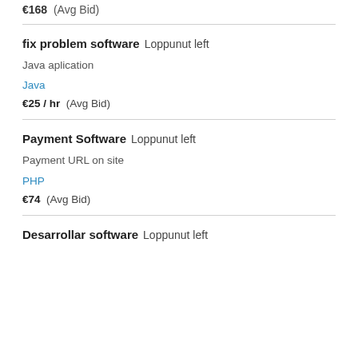€168 (Avg Bid)
fix problem software   Loppunut left
Java aplication
Java
€25 / hr   (Avg Bid)
Payment Software   Loppunut left
Payment URL on site
PHP
€74   (Avg Bid)
Desarrollar software   Loppunut left